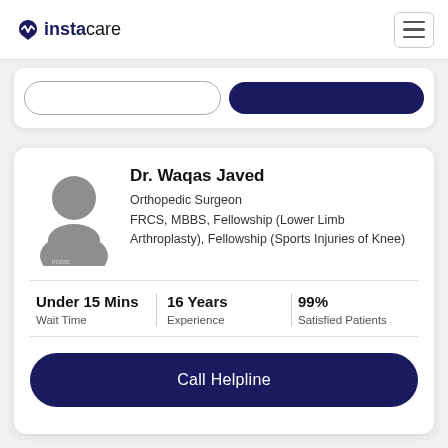instacare
[Figure (screenshot): Partial UI card with two pill-shaped buttons, one outlined and one dark navy filled]
[Figure (illustration): Generic silhouette avatar placeholder for Dr. Waqas Javed]
Dr. Waqas Javed
Orthopedic Surgeon
FRCS, MBBS, Fellowship (Lower Limb Arthroplasty), Fellowship (Sports Injuries of Knee)
Under 15 Mins
Wait Time
16 Years
Experience
99%
Satisfied Patients
Call Helpline